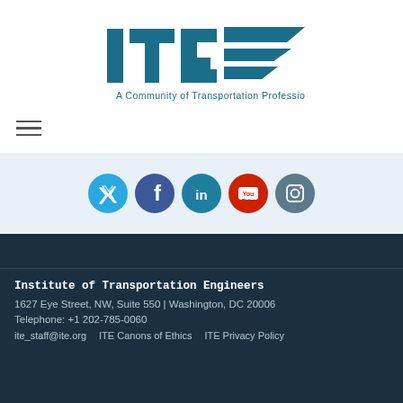[Figure (logo): ITE logo - Institute of Transportation Engineers with tagline 'A Community of Transportation Professionals']
[Figure (infographic): Hamburger menu icon (three horizontal lines)]
[Figure (infographic): Social media icons row: Twitter, Facebook, LinkedIn, YouTube, Instagram]
Institute of Transportation Engineers
1627 Eye Street, NW, Suite 550 | Washington, DC 20006
Telephone: +1 202-785-0060
ite_staff@ite.org    ITE Canons of Ethics    ITE Privacy Policy